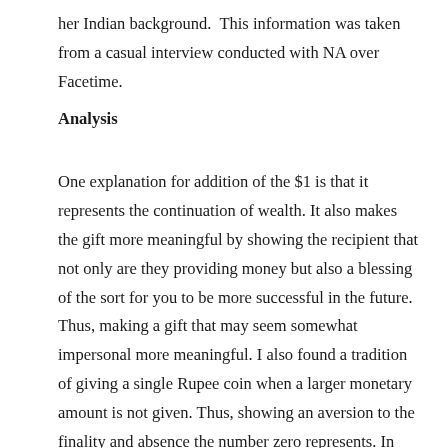her Indian background.  This information was taken from a casual interview conducted with NA over Facetime.
Analysis
One explanation for addition of the $1 is that it represents the continuation of wealth. It also makes the gift more meaningful by showing the recipient that not only are they providing money but also a blessing of the sort for you to be more successful in the future. Thus, making a gift that may seem somewhat impersonal more meaningful. I also found a tradition of giving a single Rupee coin when a larger monetary amount is not given. Thus, showing an aversion to the finality and absence the number zero represents. In contrast to the potential form growth represented through the number one. Additionally, even though zero comes before one, one is the number we start counting with. As a